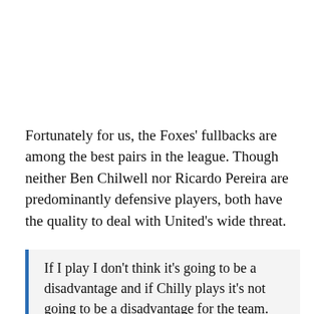Fortunately for us, the Foxes' fullbacks are among the best pairs in the league. Though neither Ben Chilwell nor Ricardo Pereira are predominantly defensive players, both have the quality to deal with United's wide threat.
If I play I don't think it's going to be a disadvantage and if Chilly plays it's not going to be a disadvantage for the team. We both offer great qualities and I'm a massive fan of Chilly's. I've got two of his shirts at